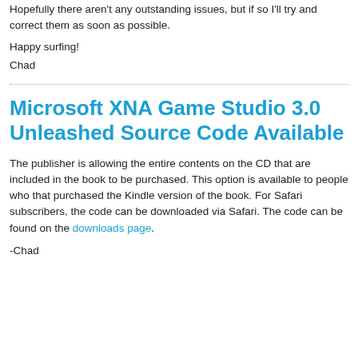Hopefully there aren't any outstanding issues, but if so I'll try and correct them as soon as possible.
Happy surfing!
Chad
Microsoft XNA Game Studio 3.0 Unleashed Source Code Available
The publisher is allowing the entire contents on the CD that are included in the book to be purchased. This option is available to people who that purchased the Kindle version of the book. For Safari subscribers, the code can be downloaded via Safari. The code can be found on the downloads page.
-Chad